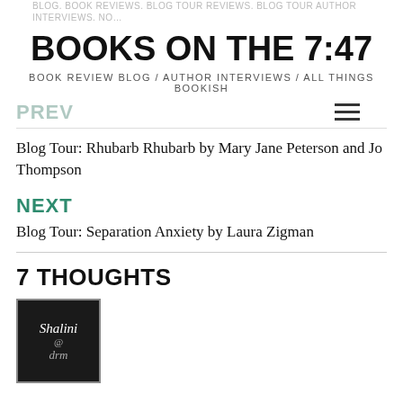BLOG. BOOK REVIEWS. BLOG TOUR REVIEWS. BLOG TOUR AUTHOR INTERVIEWS.
BOOKS ON THE 7:47
BOOK REVIEW BLOG / AUTHOR INTERVIEWS / ALL THINGS BOOKISH
PREV
Blog Tour: Rhubarb Rhubarb by Mary Jane Peterson and Jo Thompson
NEXT
Blog Tour: Separation Anxiety by Laura Zigman
7 THOUGHTS
[Figure (photo): Avatar image for Shalini @drm — dark background with cursive text 'Shalini @ drm']